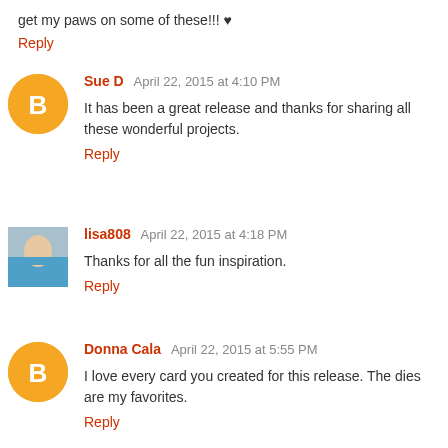get my paws on some of these!!! ♥
Reply
Sue D  April 22, 2015 at 4:10 PM
It has been a great release and thanks for sharing all these wonderful projects.
Reply
lisa808  April 22, 2015 at 4:18 PM
Thanks for all the fun inspiration.
Reply
Donna Cala  April 22, 2015 at 5:55 PM
I love every card you created for this release. The dies are my favorites.
Reply